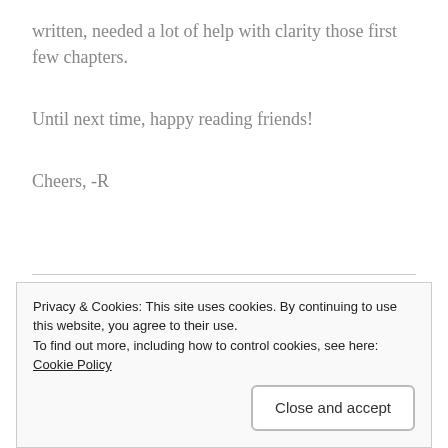written, needed a lot of help with clarity those first few chapters.
Until next time, happy reading friends!
Cheers, -R
Share this:
[Figure (other): Tweet button with Twitter bird icon]
Privacy & Cookies: This site uses cookies. By continuing to use this website, you agree to their use.
To find out more, including how to control cookies, see here: Cookie Policy
Close and accept